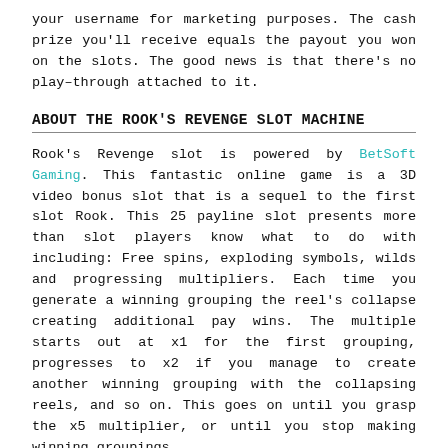your username for marketing purposes. The cash prize you'll receive equals the payout you won on the slots. The good news is that there's no play-through attached to it.
ABOUT THE ROOK'S REVENGE SLOT MACHINE
Rook's Revenge slot is powered by BetSoft Gaming. This fantastic online game is a 3D video bonus slot that is a sequel to the first slot Rook. This 25 payline slot presents more than slot players know what to do with including: Free spins, exploding symbols, wilds and progressing multipliers. Each time you generate a winning grouping the reel's collapse creating additional pay wins. The multiple starts out at x1 for the first grouping, progresses to x2 if you manage to create another winning grouping with the collapsing reels, and so on. This goes on until you grasp the x5 multiplier, or until you stop making winning groupings.
This is a highly entertaining slots. It is flushed with visually appealing graphics, wilds, up to 20 free spins can be won and offers a top jackpot prize of $12,500. The house edge of the game is 5%.